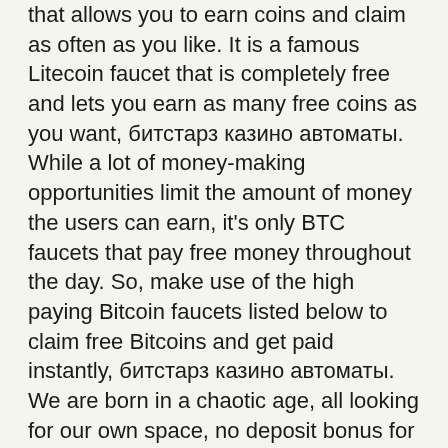that allows you to earn coins and claim as often as you like. It is a famous Litecoin faucet that is completely free and lets you earn as many free coins as you want, битстарз казино автоматы. While a lot of money-making opportunities limit the amount of money the users can earn, it's only BTC faucets that pay free money throughout the day. So, make use of the high paying Bitcoin faucets listed below to claim free Bitcoins and get paid instantly, битстарз казино автоматы. We are born in a chaotic age, all looking for our own space, no deposit bonus for bitstarz casino. A space that exists beyond ideas of what's right and what's wrong. The Multicoin faucets will have several faucets within the same website so that you can claim various cryptocurrencies such as Etherenum, Litecoin, Dogecoin, etc, битстарз казино отзывы. Some of the Faucets listed above are Multicoin